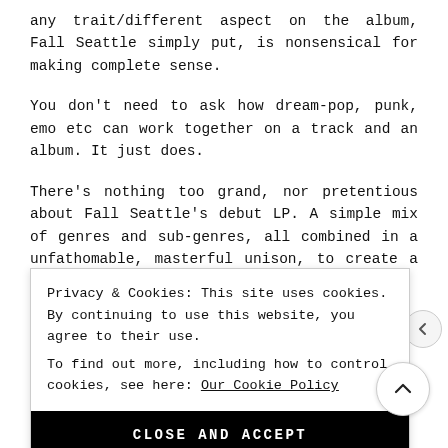any trait/different aspect on the album, Fall Seattle simply put, is nonsensical for making complete sense.
You don't need to ask how dream-pop, punk, emo etc can work together on a track and an album. It just does.
There's nothing too grand, nor pretentious about Fall Seattle's debut LP. A simple mix of genres and sub-genres, all combined in a unfathomable, masterful unison, to create a nuclear focus point. It's a complete
Privacy & Cookies: This site uses cookies. By continuing to use this website, you agree to their use.
To find out more, including how to control cookies, see here: Our Cookie Policy
CLOSE AND ACCEPT